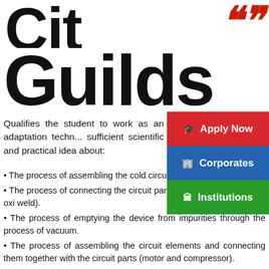Guilds
Qualifies the student to work as an adaptation technician, with sufficient scientific and practical idea about:
The process of assembling the cold circuit using screwdrivers.
The process of connecting the circuit parts to each other (screw or oxi weld).
The process of emptying the device from impurities through the process of vacuum.
The process of assembling the circuit elements and connecting them together with the circuit parts (motor and compressor).
Freon charge the circuit with the appropriate amount.
Test process for air conditioners, taking into account the